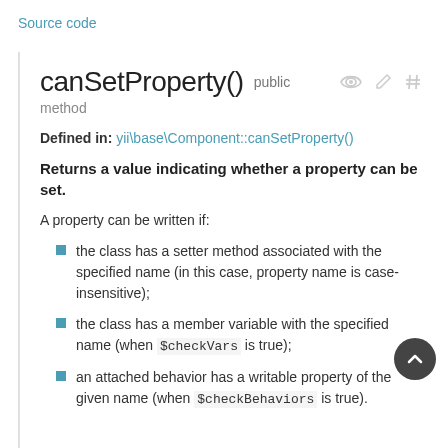Source code
canSetProperty()  public  method
Defined in: yii\base\Component::canSetProperty()
Returns a value indicating whether a property can be set.
A property can be written if:
the class has a setter method associated with the specified name (in this case, property name is case-insensitive);
the class has a member variable with the specified name (when $checkVars is true);
an attached behavior has a writable property of the given name (when $checkBehaviors is true).